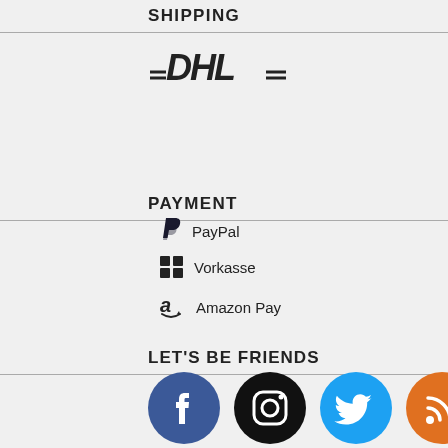SHIPPING
[Figure (logo): DHL logo in dark italic text with dashes]
PAYMENT
PayPal
Vorkasse
Amazon Pay
LET'S BE FRIENDS
[Figure (infographic): Four social media icons: Facebook (blue circle), Instagram (black circle), Twitter (cyan circle), RSS (orange circle)]